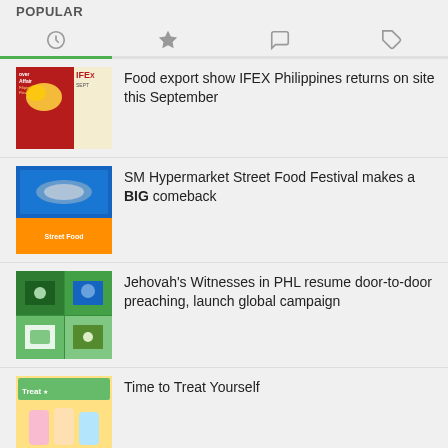POPULAR
[Figure (screenshot): Tab bar with four icons: clock (active, green underline), star, chat bubble, tag]
Food export show IFEX Philippines returns on site this September
SM Hypermarket Street Food Festival makes a BIG comeback
Jehovah's Witnesses in PHL resume door-to-door preaching, launch global campaign
Time to Treat Yourself